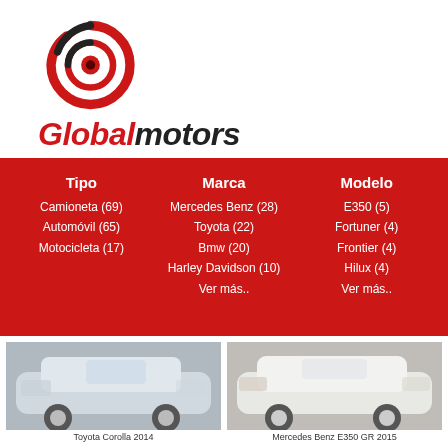[Figure (logo): Global motors logo: circular swirl icon in red and black with text 'Globalmotors']
Tipo
Camioneta (69)
Automóvil (65)
Motocicleta (17)
Marca
Mercedes Benz (28)
Toyota (22)
Bmw (20)
Harley Davidson (10)
Ver más..
Modelo
E350 (5)
Fortune (4)
Frontier (4)
Hilux (4)
Ver más..
[Figure (photo): Silver Toyota Corolla 2014 car photo]
[Figure (photo): White Mercedes Benz E350 GR 2015 car photo]
Toyota Corolla 2014
Mercedes Benz E350 GR 2015